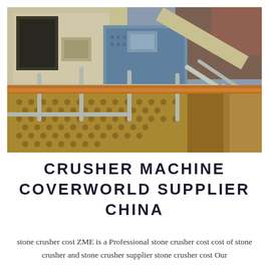[Figure (photo): Industrial crusher machine equipment showing metal walkway grating with perforated floor, steel handrails, large industrial machinery components in blue-grey and beige/yellow colors, viewed from above at an angle]
CRUSHER MACHINE COVERWORLD SUPPLIER CHINA
stone crusher cost ZME is a Professional stone crusher cost cost of stone crusher and stone crusher supplier stone crusher cost Our